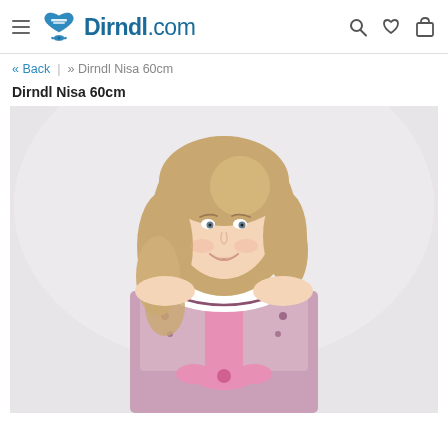Dirndl.com
« Back | » Dirndl Nisa 60cm
Dirndl Nisa 60cm
[Figure (photo): A young woman with long wavy blonde hair wearing a pink Dirndl (traditional Bavarian dress) with floral embroidery, white blouse, and pink satin bow. She is smiling and wearing a necklace. The background is plain light grey/white.]